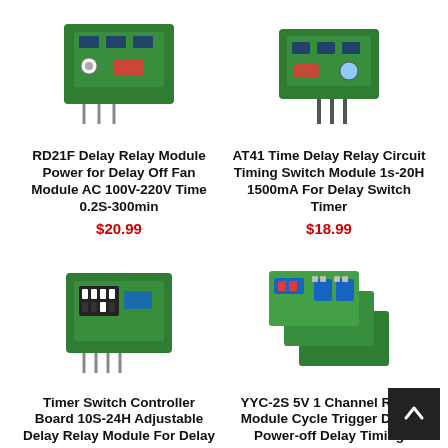[Figure (photo): RD21F Delay Relay Module green PCB product image]
RD21F Delay Relay Module Power for Delay Off Fan Module AC 100V-220V Time 0.2S-300min
$20.99
[Figure (photo): AT41 Time Delay Relay Circuit Timing Switch Module product image]
AT41 Time Delay Relay Circuit Timing Switch Module 1s-20H 1500mA For Delay Switch Timer
$18.99
[Figure (photo): Timer Switch Controller Board 10S-24H Adjustable Delay Relay Module product image]
Timer Switch Controller Board 10S-24H Adjustable Delay Relay Module For Delay
$21.99
[Figure (photo): YYC-2S 5V 1 Channel Relay Module Cycle Trigger Delay Power-off Delay Timing Circuit product image]
YYC-2S 5V 1 Channel Relay Module Cycle Trigger Delay Power-off Delay Timing Circuit
$12.99
[Figure (photo): Partial product image bottom left]
[Figure (photo): Partial product image bottom right with digital display]